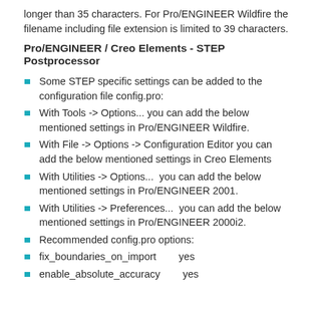longer than 35 characters. For Pro/ENGINEER Wildfire the filename including file extension is limited to 39 characters.
Pro/ENGINEER / Creo Elements - STEP Postprocessor
Some STEP specific settings can be added to the configuration file config.pro:
With Tools -> Options... you can add the below mentioned settings in Pro/ENGINEER Wildfire.
With File -> Options -> Configuration Editor you can add the below mentioned settings in Creo Elements
With Utilities -> Options...  you can add the below mentioned settings in Pro/ENGINEER 2001.
With Utilities -> Preferences...  you can add the below mentioned settings in Pro/ENGINEER 2000i2.
Recommended config.pro options:
fix_boundaries_on_import        yes
enable_absolute_accuracy        yes